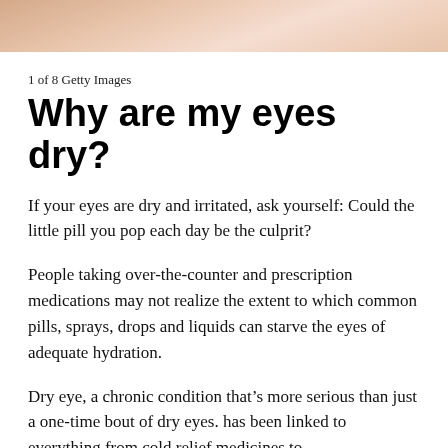[Figure (photo): Partial view of a person's face/skin, close-up, top of page strip]
1 of 8 Getty Images
Why are my eyes dry?
If your eyes are dry and irritated, ask yourself: Could the little pill you pop each day be the culprit?
People taking over-the-counter and prescription medications may not realize the extent to which common pills, sprays, drops and liquids can starve the eyes of adequate hydration.
Dry eye, a chronic condition that’s more serious than just a one-time bout of dry eyes. has been linked to everything from cold relief medicines to